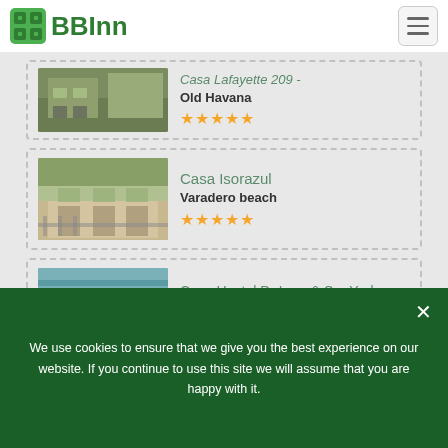BBInn
[Figure (screenshot): Partial listing card showing Casa Lafayette 209 in Old Havana with 5-star rating and building photo]
Casa Lafayette 209
Old Havana
★★★★★
[Figure (photo): Photo of Casa Isorazul, a two-story house with greenery]
Casa Isorazul
Varadero beach
★★★★★
[Figure (photo): Photo of Casa Hostal Dr Lara & Sra Yuda, a teal-colored building]
Casa Hostal Dr Lara & Sra Yuda
Trinidad
★★★★★
We use cookies to ensure that we give you the best experience on our website. If you continue to use this site we will assume that you are happy with it.